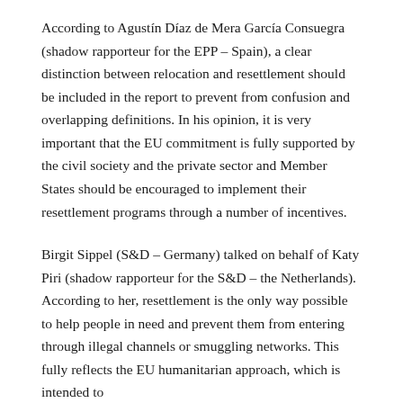According to Agustín Díaz de Mera García Consuegra (shadow rapporteur for the EPP – Spain), a clear distinction between relocation and resettlement should be included in the report to prevent from confusion and overlapping definitions. In his opinion, it is very important that the EU commitment is fully supported by the civil society and the private sector and Member States should be encouraged to implement their resettlement programs through a number of incentives.
Birgit Sippel (S&D – Germany) talked on behalf of Katy Piri (shadow rapporteur for the S&D – the Netherlands). According to her, resettlement is the only way possible to help people in need and prevent them from entering through illegal channels or smuggling networks. This fully reflects the EU humanitarian approach, which is intended to